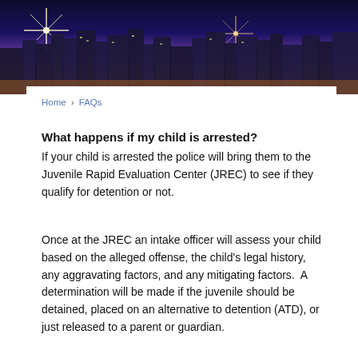[Figure (photo): City skyline at night with lights and purple/orange sky]
Home › FAQs
What happens if my child is arrested?
If your child is arrested the police will bring them to the Juvenile Rapid Evaluation Center (JREC) to see if they qualify for detention or not.
Once at the JREC an intake officer will assess your child based on the alleged offense, the child's legal history, any aggravating factors, and any mitigating factors.  A determination will be made if the juvenile should be detained, placed on an alternative to detention (ATD), or just released to a parent or guardian.